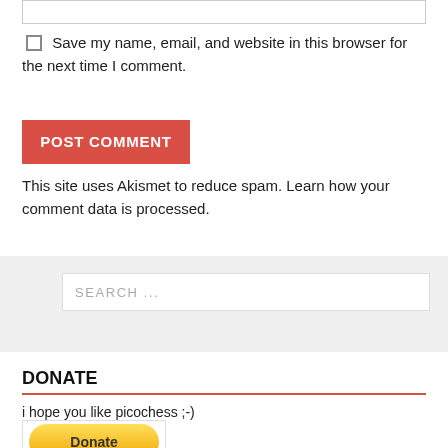[input bar]
Save my name, email, and website in this browser for the next time I comment.
POST COMMENT
This site uses Akismet to reduce spam. Learn how your comment data is processed.
SEARCH ...
DONATE
i hope you like picochess ;-)
[Figure (other): PayPal Donate button]
CATEGORIES